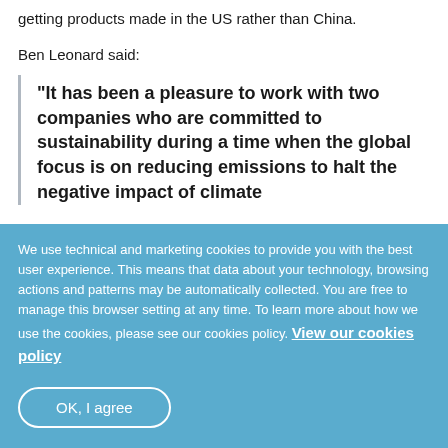getting products made in the US rather than China.
Ben Leonard said:
“It has been a pleasure to work with two companies who are committed to sustainability during a time when the global focus is on reducing emissions to halt the negative impact of climate
We use technical and marketing cookies to provide you with the best user experience. This means that data about your technology, browsing actions and patterns may be automatically collected. You are free to manage this browser setting at any time. To learn more about how we use the cookies, please see our cookies policy. View our cookies policy
OK, I agree